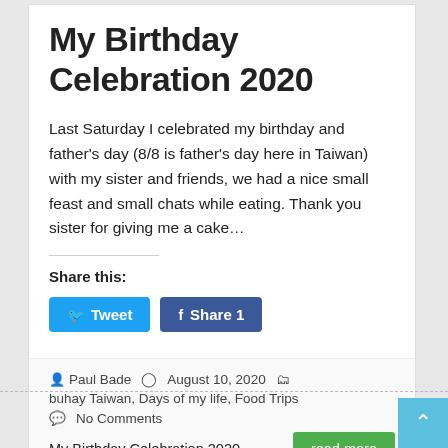My Birthday Celebration 2020
Last Saturday I celebrated my birthday and father's day (8/8 is father's day here in Taiwan) with my sister and friends, we had a nice small feast and small chats while eating. Thank you sister for giving me a cake…
Share this:
Tweet
Share 1
Paul Bade  August 10, 2020  buhay Taiwan, Days of my life, Food Trips  No Comments
My Birthday Celebration 2020
read more